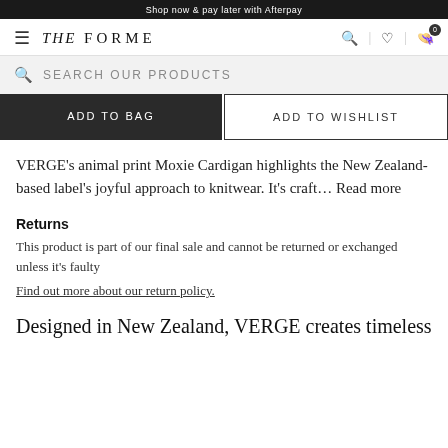Shop now & pay later with Afterpay
THE FORME
SEARCH OUR PRODUCTS
ADD TO BAG
ADD TO WISHLIST
VERGE's animal print Moxie Cardigan highlights the New Zealand-based label's joyful approach to knitwear. It's craft... Read more
Returns
This product is part of our final sale and cannot be returned or exchanged unless it's faulty
Find out more about our return policy.
Designed in New Zealand, VERGE creates timeless